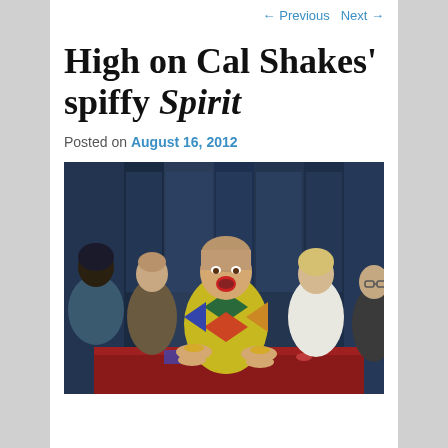← Previous   Next →
High on Cal Shakes' spiffy Spirit
Posted on August 16, 2012
[Figure (photo): Theatrical performance photo showing five actors around a red-covered table. Center figure is a woman in a colorful yellow/green and multicolored diamond-patterned outfit with mouth open in an expression of surprise or exclamation. Other actors surround her, including a man in a suit on the left, a woman in a white outfit on the right, and others partially visible. Background shows blue-toned curtains or set pieces.]